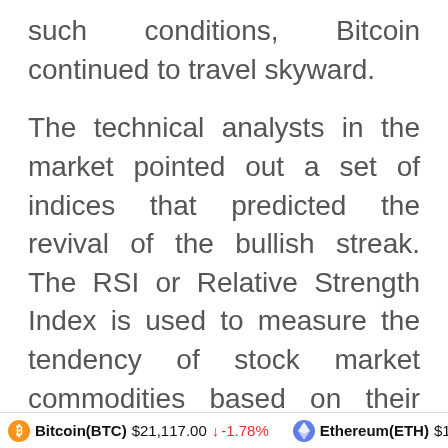such conditions, Bitcoin continued to travel skyward.
The technical analysts in the market pointed out a set of indices that predicted the revival of the bullish streak. The RSI or Relative Strength Index is used to measure the tendency of stock market commodities based on their ending costs. In the last weekend, Bitcoin managed to break out of the downward trajectory for the
Bitcoin(BTC) $21,117.00 ↓ -1.78%    Ethereum(ETH) $1,578.32